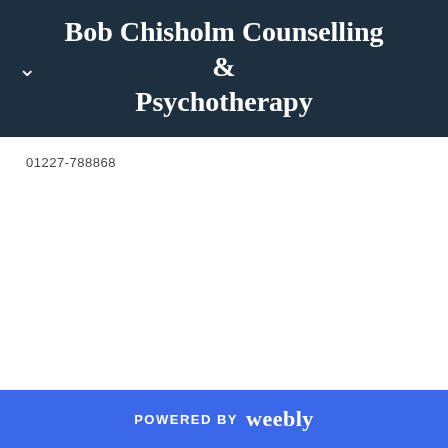Bob Chisholm Counselling & Psychotherapy
01227-788868
POWERED BY weebly